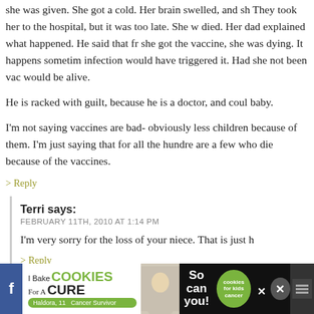she was given. She got a cold. Her brain swelled, and she died. They took her to the hospital, but it was too late. She was dying. Her dad explained what happened. He said that from when she got the vaccine, she was dying. It happens sometimes. Any infection would have triggered it. Had she not been vaccinated, she would be alive.
He is racked with guilt, because he is a doctor, and could not save his baby.
I'm not saying vaccines are bad- obviously less children die because of them. I'm just saying that for all the hundreds saved, there are a few who die because of the vaccines.
> Reply
Terri says:
FEBRUARY 11TH, 2010 AT 1:14 PM
I'm very sorry for the loss of your niece. That is just h
> Reply
[Figure (infographic): Advertisement banner: I Bake COOKIES For A CURE with Haldora, 11 Cancer Survivor. So can you! cookies for kids cancer logo. Close button X. Facebook icon on left, other icons on right.]